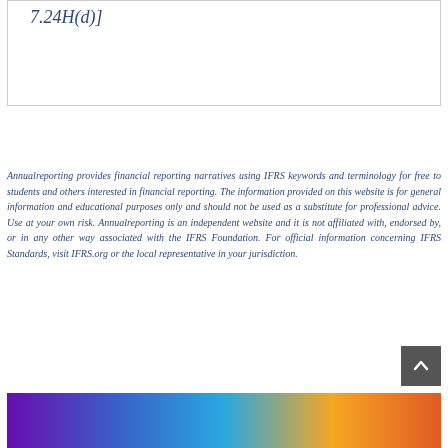7.24H(d)]
Annualreporting provides financial reporting narratives using IFRS keywords and terminology for free to students and others interested in financial reporting. The information provided on this website is for general information and educational purposes only and should not be used as a substitute for professional advice. Use at your own risk. Annualreporting is an independent website and it is not affiliated with, endorsed by, or in any other way associated with the IFRS Foundation. For official information concerning IFRS Standards, visit IFRS.org or the local representative in your jurisdiction.
[Figure (illustration): Colorful gradient banner image at the bottom of the page, transitioning from purple on the left through blue, cyan, orange to red on the right.]